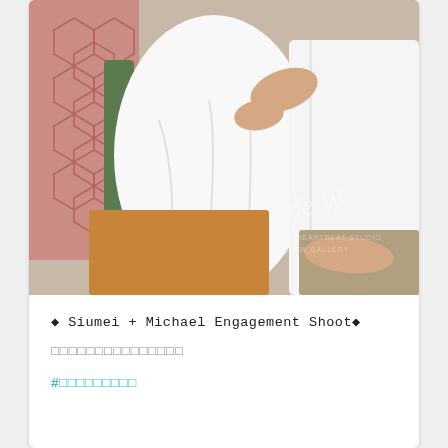[Figure (photo): Engagement photo of a couple sitting close together. A woman in a white blouse rests her arm on the man's shoulder, and he wears a white dress shirt. She has golden/tan trousers and he has beige/khaki pants. Background shows a green chair and a pink hexagonal wire fence pattern. A watermark reading 'de W YOUR HEARTBEAT STUDIO DE W GALLERY' appears in the lower right.]
◆ Siumei + Michael Engagement Shoot◆
□□□□□□□□□□□□□□□
#□□□□□□□□□